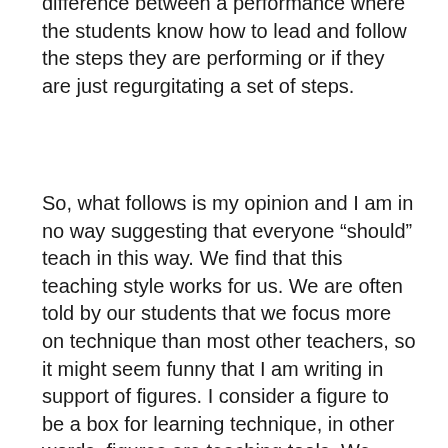difference between a performance where the students know how to lead and follow the steps they are performing or if they are just regurgitating a set of steps.
So, what follows is my opinion and I am in no way suggesting that everyone “should” teach in this way. We find that this teaching style works for us. We are often told by our students that we focus more on technique than most other teachers, so it might seem funny that I am writing in support of figures. I consider a figure to be a box for learning technique, in other words, figures are teaching tools. We encourage our students